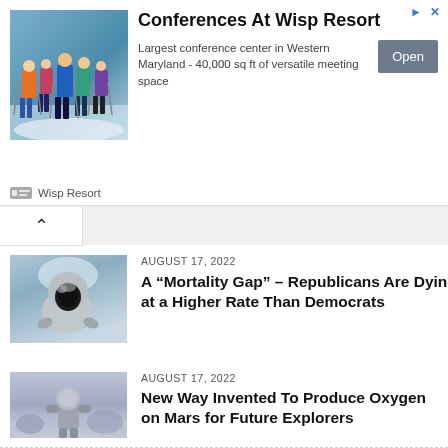[Figure (screenshot): Advertisement banner for Conferences At Wisp Resort showing a group of skiers in colorful jackets]
Conferences At Wisp Resort
Largest conference center in Western Maryland - 40,000 sq ft of versatile meeting space
Wisp Resort
[Figure (photo): Close-up photo of a seal's face underwater]
AUGUST 17, 2022
A “Mortality Gap” – Republicans Are Dying at a Higher Rate Than Democrats
[Figure (photo): Photo of an astronaut standing on a misty landscape]
AUGUST 17, 2022
New Way Invented To Produce Oxygen on Mars for Future Explorers
[Figure (photo): Dark photo showing asteroid-like rocks and a spiky sea urchin]
AUGUST 16, 2022
Moon Discovered Around Asteroid Polymele by NASA’s Lucy Team